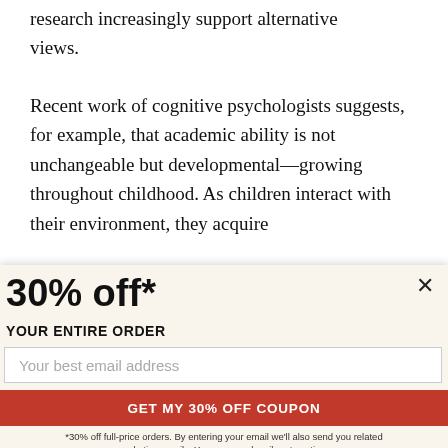research increasingly support alternative views.
Recent work of cognitive psychologists suggests, for example, that academic ability is not unchangeable but developmental—growing throughout childhood. As children interact with their environment, they acquire
30% off*
YOUR ENTIRE ORDER
Your best email address
GET MY 30% OFF COUPON
*30% off full-price orders. By entering your email we'll also send you related marketing emails. You can unsubscribe at anytime.